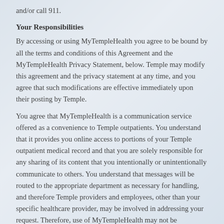and/or call 911.
Your Responsibilities
By accessing or using MyTempleHealth you agree to be bound by all the terms and conditions of this Agreement and the MyTempleHealth Privacy Statement, below. Temple may modify this agreement and the privacy statement at any time, and you agree that such modifications are effective immediately upon their posting by Temple.
You agree that MyTempleHealth is a communication service offered as a convenience to Temple outpatients. You understand that it provides you online access to portions of your Temple outpatient medical record and that you are solely responsible for any sharing of its content that you intentionally or unintentionally communicate to others. You understand that messages will be routed to the appropriate department as necessary for handling, and therefore Temple providers and employees, other than your specific healthcare provider, may be involved in addressing your request. Therefore, use of MyTempleHealth may not be appropriate for very sensitive information that you wish to discuss directly